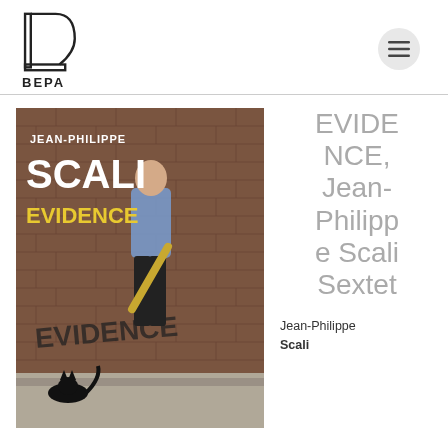BEPA
[Figure (photo): Album cover for 'Evidence' by Jean-Philippe Scali Sextet. Shows a man in a blue shirt carrying a saxophone walking past a brick wall with graffiti reading 'Evidence', with a black cat in the foreground.]
EVIDENCE, Jean-Philippe Scali Sextet
Jean-Philippe Scali